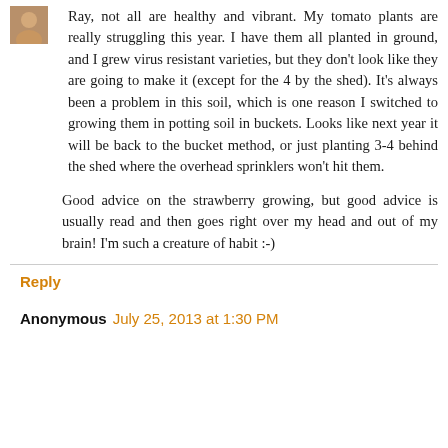Ray, not all are healthy and vibrant. My tomato plants are really struggling this year. I have them all planted in ground, and I grew virus resistant varieties, but they don't look like they are going to make it (except for the 4 by the shed). It's always been a problem in this soil, which is one reason I switched to growing them in potting soil in buckets. Looks like next year it will be back to the bucket method, or just planting 3-4 behind the shed where the overhead sprinklers won't hit them.
Good advice on the strawberry growing, but good advice is usually read and then goes right over my head and out of my brain! I'm such a creature of habit :-)
Reply
Anonymous July 25, 2013 at 1:30 PM